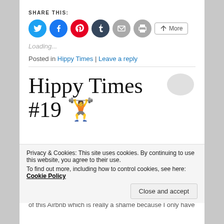SHARE THIS:
[Figure (other): Row of social share buttons: Twitter (blue circle), Facebook (blue circle), Pinterest (red circle), Tumblr (dark circle), Email (gray circle), Print (gray circle), More button]
Loading...
Posted in Hippy Times | Leave a reply
Hippy Times #19 🏋️
Privacy & Cookies: This site uses cookies. By continuing to use this website, you agree to their use.
To find out more, including how to control cookies, see here: Cookie Policy
Close and accept
of this Airbnb which is really a shame because I only have